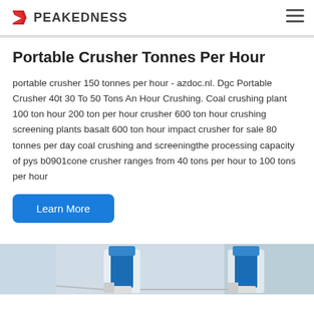PEAKEDNESS
Portable Crusher Tonnes Per Hour
portable crusher 150 tonnes per hour - azdoc.nl. Dgc Portable Crusher 40t 30 To 50 Tons An Hour Crushing. Coal crushing plant 100 ton hour 200 ton per hour crusher 600 ton hour crushing screening plants basalt 600 ton hour impact crusher for sale 80 tonnes per day coal crushing and screeningthe processing capacity of pys b0901cone crusher ranges from 40 tons per hour to 100 tons per hour
Learn More
[Figure (photo): Industrial crusher equipment with blue cylindrical components visible against a light background, two units side by side]